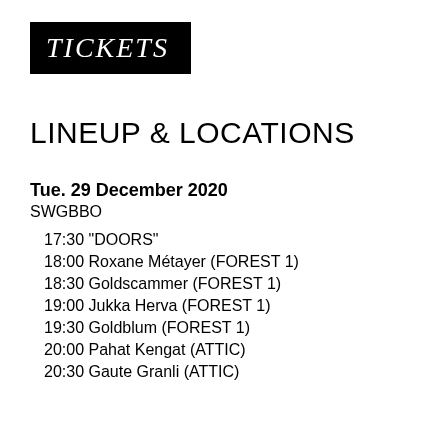TICKETS
LINEUP & LOCATIONS
Tue. 29 December 2020
SWGBBO
17:30 "DOORS"
18:00 Roxane Métayer (FOREST 1)
18:30 Goldscammer (FOREST 1)
19:00 Jukka Herva (FOREST 1)
19:30 Goldblum (FOREST 1)
20:00 Pahat Kengat (ATTIC)
20:30 Gaute Granli (ATTIC)